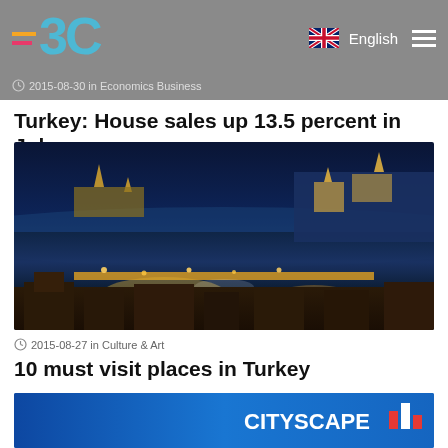EBC — Economics Business Culture
2015-08-30 in Economics Business
Turkey: House sales up 13.5 percent in July
[Figure (photo): Aerial night panoramic view of Istanbul, Turkey, showing the Bosphorus strait with illuminated bridges and mosques]
2015-08-27 in Culture & Art
10 must visit places in Turkey
[Figure (photo): Blue background image with CITYSCAPE text and bar chart logo icon in white and red]